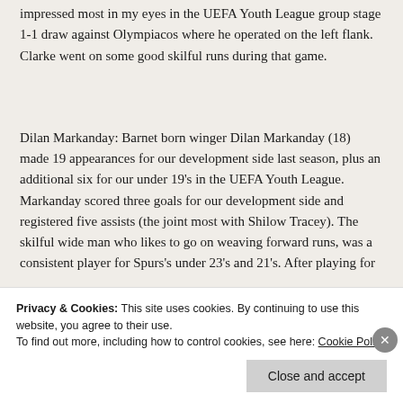impressed most in my eyes in the UEFA Youth League group stage 1-1 draw against Olympiacos where he operated on the left flank. Clarke went on some good skilful runs during that game.
Dilan Markanday: Barnet born winger Dilan Markanday (18) made 19 appearances for our development side last season, plus an additional six for our under 19's in the UEFA Youth League. Markanday scored three goals for our development side and registered five assists (the joint most with Shilow Tracey). The skilful wide man who likes to go on weaving forward runs, was a consistent player for Spurs's under 23's and 21's. After playing for
Privacy & Cookies: This site uses cookies. By continuing to use this website, you agree to their use.
To find out more, including how to control cookies, see here: Cookie Policy